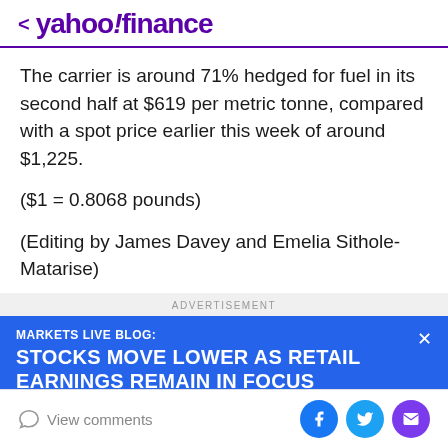< yahoo!finance
The carrier is around 71% hedged for fuel in its second half at $619 per metric tonne, compared with a spot price earlier this week of around $1,225.
($1 = 0.8068 pounds)
(Editing by James Davey and Emelia Sithole-Matarise)
ADVERTISEMENT
MARKETS LIVE BLOG: STOCKS MOVE LOWER AS RETAIL EARNINGS REMAIN IN FOCUS
View comments